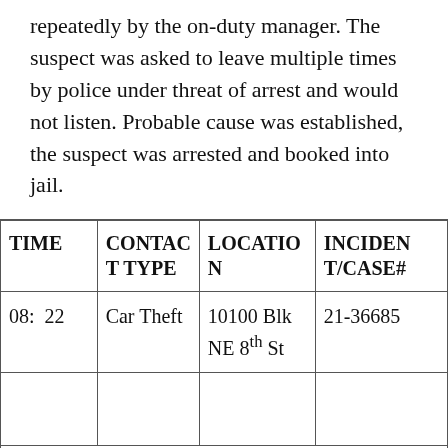repeatedly by the on-duty manager. The suspect was asked to leave multiple times by police under threat of arrest and would not listen. Probable cause was established, the suspect was arrested and booked into jail.
| TIME | CONTACT TYPE | LOCATION | INCIDENT/CASE# |
| --- | --- | --- | --- |
| 08: 22 | Car Theft | 10100 Blk NE 8th St | 21-36685 |
|  |  |  |  |
NARRATIVE